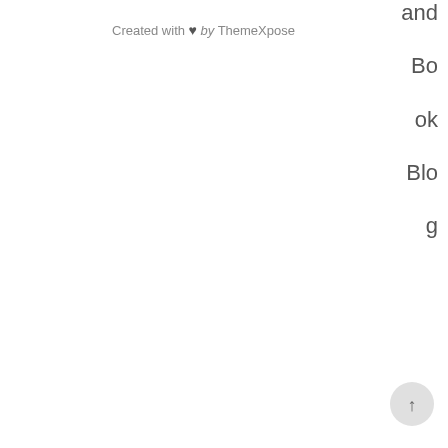Created with ♥ by ThemeXpose
and
Bo
ok
Blo
g
[Figure (other): Back to top arrow button, circular grey button with upward arrow]